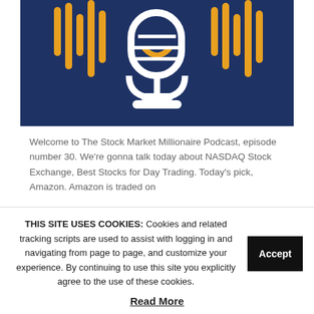[Figure (illustration): Podcast logo on dark navy blue background featuring a white microphone icon with orange sound wave bars on both sides]
Welcome to The Stock Market Millionaire Podcast, episode number 30. We're gonna talk today about NASDAQ Stock Exchange, Best Stocks for Day Trading. Today's pick, Amazon. Amazon is traded on
THIS SITE USES COOKIES: Cookies and related tracking scripts are used to assist with logging in and navigating from page to page, and customize your experience. By continuing to use this site you explicitly agree to the use of these cookies.
Accept
Read More